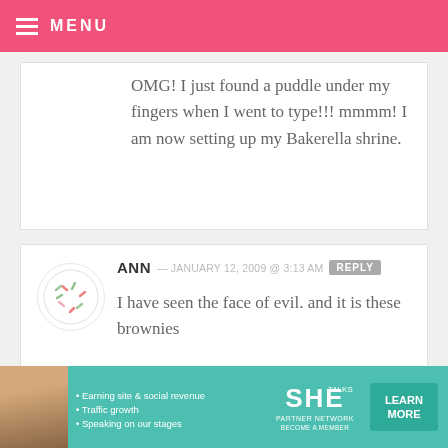MENU
OMG! I just found a puddle under my fingers when I went to type!!! mmmm! I am now setting up my Bakerella shrine.
ANN — JANUARY 12, 2009 @ 3:13 AM    REPLY
I have seen the face of evil. and it is these brownies
[Figure (screenshot): SHE Partner Network advertisement banner with woman photo, bullet points about earning, traffic growth, speaking, SHE logo, and LEARN MORE button]